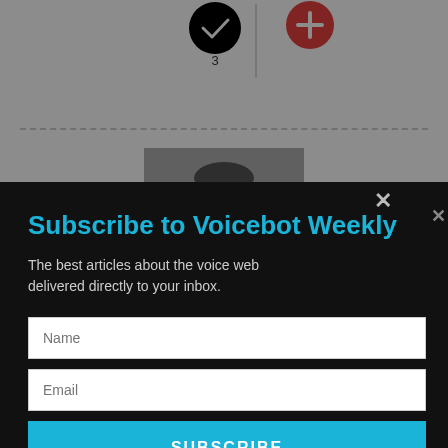[Figure (illustration): Checkmark icon (black circle with white check) and a red/orange plus icon, side by side with a vertical divider. Number 3 below the checkmark.]
3
[Figure (photo): Black and white headshot photo of Bret Kinsella, a man in a suit, smiling.]
BRET KINSELLA
Bret is founder, CEO, and research director of Voicebot.ai. He ... 2019, 2020, ... emic research ... also the host ... nsider
E NICKOLOFF
CERNS
[Figure (screenshot): Modal popup overlay: 'Subscribe to Voicebot Weekly' with subtitle 'The best articles about the voice web delivered directly to your inbox.' Name input field, Email input field, and SUBSCRIBE button.]